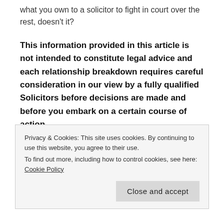what you own to a solicitor to fight in court over the rest, doesn't it?
This information provided in this article is not intended to constitute legal advice and each relationship breakdown requires careful consideration in our view by a fully qualified Solicitors before decisions are made and before you embark on a certain course of action.
Shak Inayat
Solicitors
0207 183 2898
Privacy & Cookies: This site uses cookies. By continuing to use this website, you agree to their use.
To find out more, including how to control cookies, see here: Cookie Policy
Close and accept